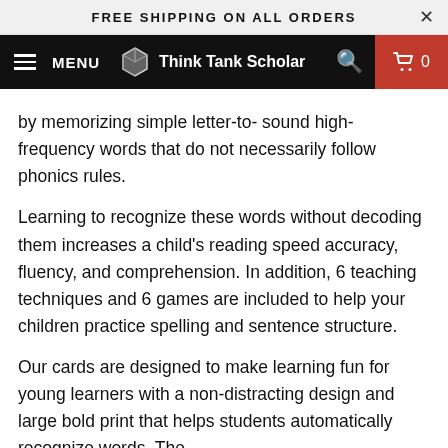FREE SHIPPING ON ALL ORDERS
[Figure (screenshot): Think Tank Scholar website navigation bar with hamburger menu, logo, search icon, and cart showing 0 items]
by memorizing simple letter-to- sound high-frequency words that do not necessarily follow phonics rules.
Learning to recognize these words without decoding them increases a child's reading speed accuracy, fluency, and comprehension. In addition, 6 teaching techniques and 6 games are included to help your children practice spelling and sentence structure.
Our cards are designed to make learning fun for young learners with a non-distracting design and large bold print that helps students automatically recognize words. The